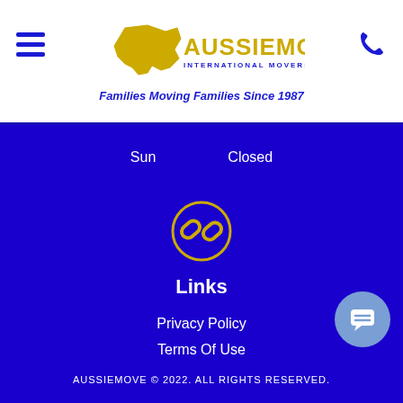[Figure (logo): AussieMove International Movers Pty. Ltd. logo with Australia map icon and tagline 'Families Moving Families Since 1987']
Sun    Closed
[Figure (illustration): Chain link icon in golden circle on dark blue background]
Links
Privacy Policy
Terms Of Use
Blog
AUSSIEMOVE © 2022. ALL RIGHTS RESERVED.